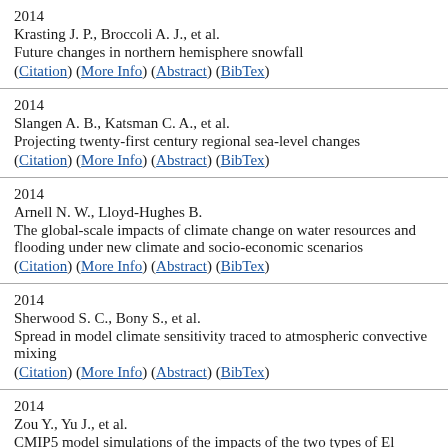2014
Krasting J. P., Broccoli A. J., et al.
Future changes in northern hemisphere snowfall
(Citation) (More Info) (Abstract) (BibTex)
2014
Slangen A. B., Katsman C. A., et al.
Projecting twenty-first century regional sea-level changes
(Citation) (More Info) (Abstract) (BibTex)
2014
Arnell N. W., Lloyd-Hughes B.
The global-scale impacts of climate change on water resources and flooding under new climate and socio-economic scenarios
(Citation) (More Info) (Abstract) (BibTex)
2014
Sherwood S. C., Bony S., et al.
Spread in model climate sensitivity traced to atmospheric convective mixing
(Citation) (More Info) (Abstract) (BibTex)
2014
Zou Y., Yu J., et al.
CMIP5 model simulations of the impacts of the two types of El...